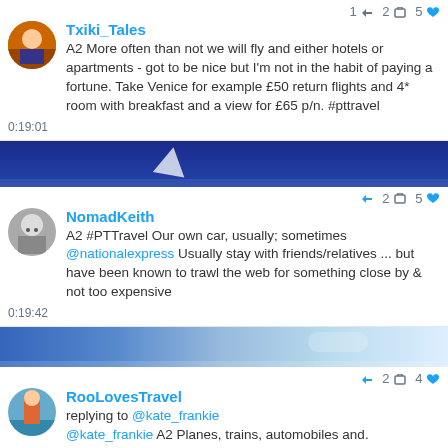Txiki_Tales
A2 More often than not we will fly and either hotels or apartments - got to be nice but I'm not in the habit of paying a fortune. Take Venice for example £50 return flights and 4* room with breakfast and a view for £65 p/n. #pttravel
0:19:01
[Figure (photo): Blue sky banner with plane fin, decorative divider between tweets]
NomadKeith
A2 #PTTravel Our own car, usually; sometimes @nationalexpress Usually stay with friends/relatives ... but have been known to trawl the web for something close by & not too expensive
0:19:42
[Figure (photo): Scenic coastal banner, decorative divider between tweets]
RooLovesTravel
replying to @kate_frankie @kate_frankie A2 Planes, trains, automobiles and.